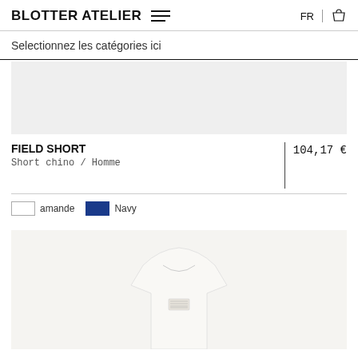BLOTTER ATELIER  FR
Selectionnez les catégories ici
[Figure (photo): Light grey product image placeholder area]
FIELD SHORT
Short chino / Homme
104,17 €
amande   Navy
[Figure (photo): White crew-neck t-shirt with label, displayed from front on light grey background]